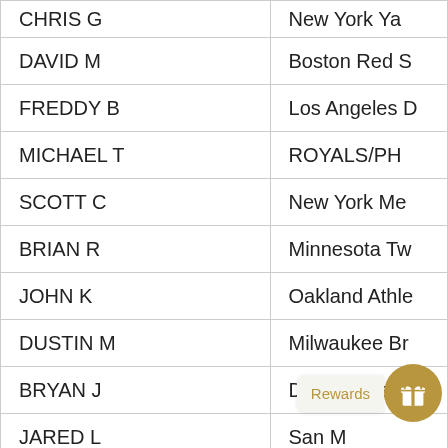| Name | Team |
| --- | --- |
| CHRIS G | New York Ya... |
| DAVID M | Boston Red S... |
| FREDDY B | Los Angeles D... |
| MICHAEL T | ROYALS/PH... |
| SCOTT C | New York Me... |
| BRIAN R | Minnesota Tw... |
| JOHN K | Oakland Athle... |
| DUSTIN M | Milwaukee Br... |
| BRYAN J | Detroit Tigers |
| JARED L | San... |
| WADE V | Texas Range... |